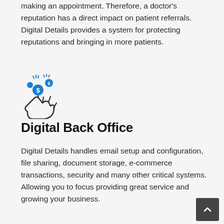making an appointment. Therefore, a doctor's reputation has a direct impact on patient referrals. Digital Details provides a system for protecting reputations and bringing in more patients.
[Figure (illustration): Icon of a hand receiving money/dollar coins with sparkle lines, representing financial back office services]
Digital Back Office
Digital Details handles email setup and configuration, file sharing, document storage, e-commerce transactions, security and many other critical systems. Allowing you to focus providing great service and growing your business.